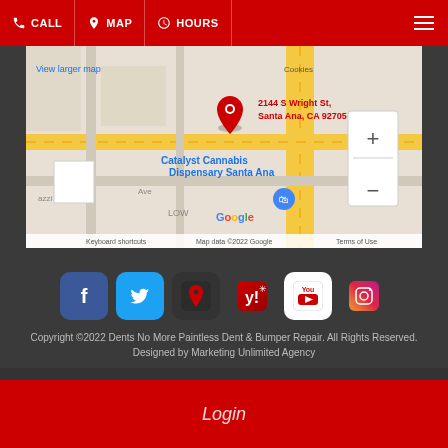CALL | MAP | HOURS
[Figure (screenshot): Google Maps screenshot showing location at 2144 S Wright St, Santa Ana, CA 92705 with Catalyst Cannabis Dispensary Santa Ana marker and zoom controls]
[Figure (infographic): Row of social media icons: Facebook, Twitter, Google Maps pin, Yelp, YouTube, Instagram]
Copyright ©2022 Dents No More Paintless Dent & Bumper Repair. All Rights Reserved. Designed by Marketing Unlimited Agency
Login